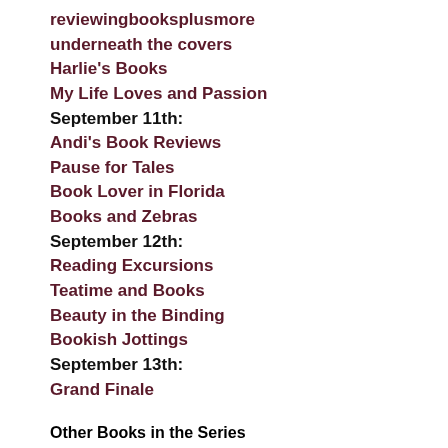reviewingbooksplusmore
underneath the covers
Harlie's Books
My Life Loves and Passion
September 11th:
Andi's Book Reviews
Pause for Tales
Book Lover in Florida
Books and Zebras
September 12th:
Reading Excursions
Teatime and Books
Beauty in the Binding
Bookish Jottings
September 13th:
Grand Finale
Other Books in the Series